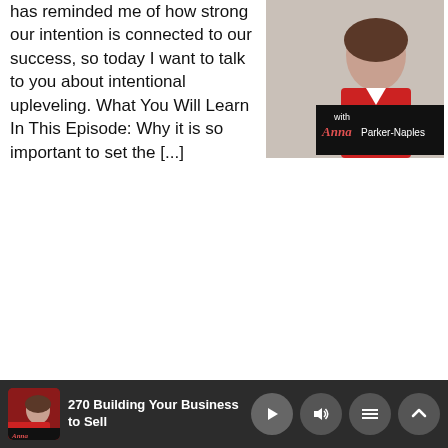has reminded me of how strong our intention is connected to our success, so today I want to talk to you about intentional upleveling. What You Will Learn In This Episode: Why it is so important to set the [...]
[Figure (photo): Podcast cover image showing a woman in red clothing with text 'with Anna Parker-Naples' on a dark banner]
Read more...
172 How to Earn the
270 Building Your Business to Sell